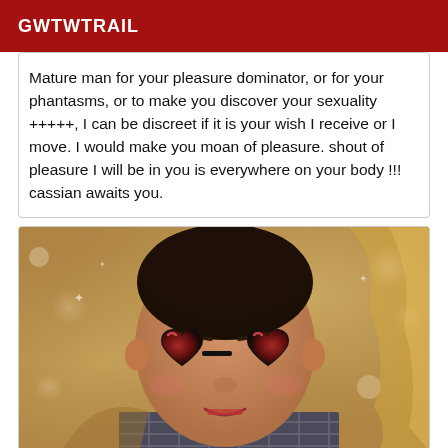GWTWTRAIL
Mature man for your pleasure dominator, or for your phantasms, or to make you discover your sexuality +++++, I can be discreet if it is your wish I receive or I move. I would make you moan of pleasure. shout of pleasure I will be in you is everywhere on your body !!! cassian awaits you.
[Figure (photo): Person wearing heart-shaped dark sunglasses with red tint, short dark hair, lying down, wearing plaid clothing, bokeh background with warm golden tones]